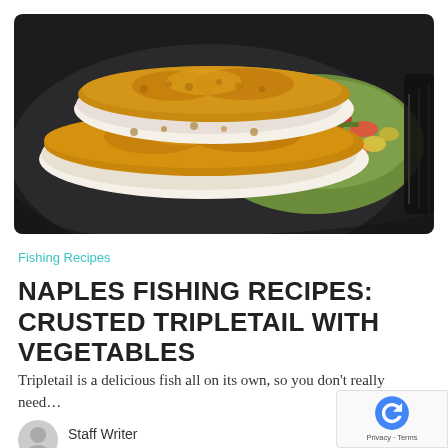[Figure (photo): A cast iron skillet containing crusted fish fillets (tripletail) with golden breadcrumb topping, surrounded by chopped vegetables including red peppers, green onions, and other colorful vegetables.]
Fishing Recipes
NAPLES FISHING RECIPES: CRUSTED TRIPLETAIL WITH VEGETABLES
Tripletail is a delicious fish all on its own, so you don’t really need…
Staff Writer